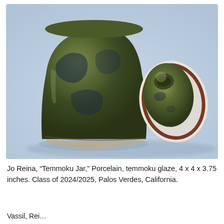[Figure (photo): A ceramic jar with a dark olive-green temmoku glaze showing blue-black mottling, photographed on a light blue background. The lid of the jar is leaned against the jar at an angle, showing its white unglazed foot ring and a reddish-brown edge band before the dark green glazed top surface.]
Jo Reina, “Temmoku Jar,” Porcelain, temmoku glaze, 4 x 4 x 3.75 inches. Class of 2024/2025, Palos Verdes, California.
Vassil, Rei...